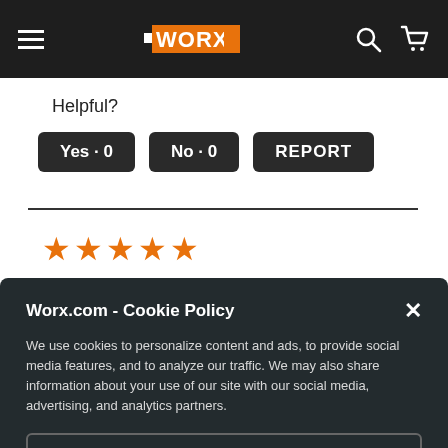WORX (navigation bar with hamburger menu, WORX logo, search and cart icons)
Helpful?
Yes · 0    No · 0    REPORT
[Figure (other): 5 orange star rating icons]
Worx.com - Cookie Policy
We use cookies to personalize content and ads, to provide social media features, and to analyze our traffic. We may also share information about your use of our site with our social media, advertising, and analytics partners.
Accept All Cookies
Cookies Settings